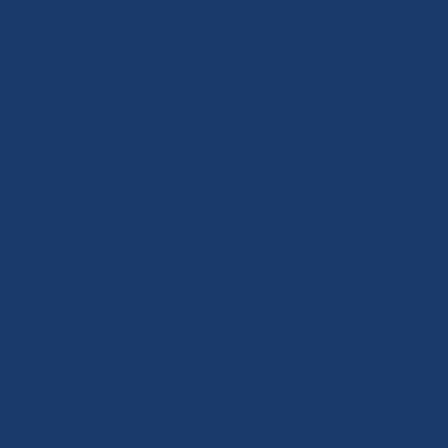[Figure (other): Dark navy blue background page with a narrow vertical strip near the center-right containing vertically oriented white/light text reading 'snotmentionisthatthehadthehotsf' (letters stacked vertically, one per line). A thin vertical dividing line separates the dark blue left panel from the text strip.]